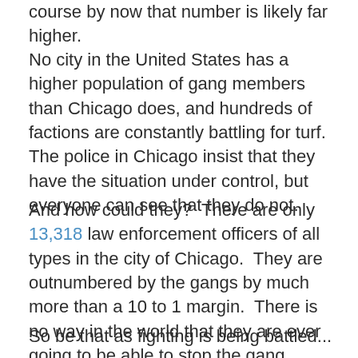course by now that number is likely far higher.
No city in the United States has a higher population of gang members than Chicago does, and hundreds of factions are constantly battling for turf.  The police in Chicago insist that they have the situation under control, but everyone can see that they do not.
And how could they?  There are only 13,318 law enforcement officers of all types in the city of Chicago.  They are outnumbered by the gangs by much more than a 10 to 1 margin.  There is no way in the world that they are ever going to be able to stop the gang violence.  All they can do is hope to contain it.
So be that as fighting is being battled...